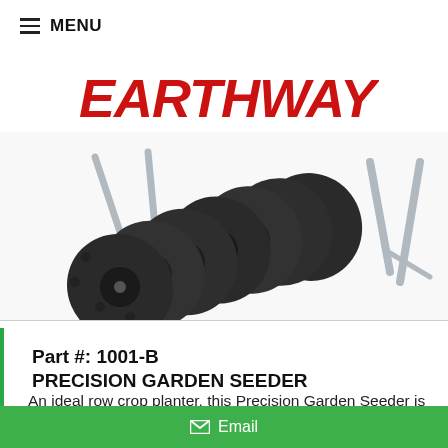≡ MENU
[Figure (logo): EARTHWAY brand logo in bold red italic text]
[Figure (photo): Product photo showing multiple interchangeable seed discs/plates fanned out on a white background with metal seeder frame legs visible]
Part #: 1001-B
PRECISION GARDEN SEEDER
An ideal row crop planter, this Precision Garden Seeder is a tool that takes the guesswork out of planting any row crop. The interchangeable seed
Email